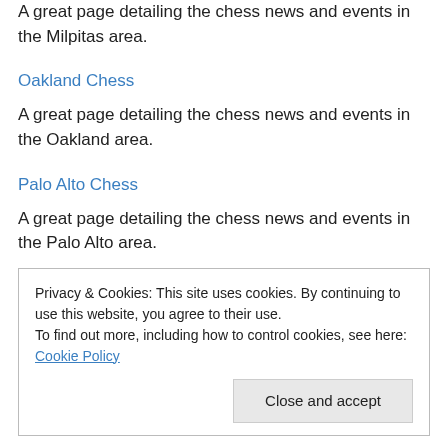A great page detailing the chess news and events in the Milpitas area.
Oakland Chess
A great page detailing the chess news and events in the Oakland area.
Palo Alto Chess
A great page detailing the chess news and events in the Palo Alto area.
Privacy & Cookies: This site uses cookies. By continuing to use this website, you agree to their use.
To find out more, including how to control cookies, see here: Cookie Policy
Close and accept